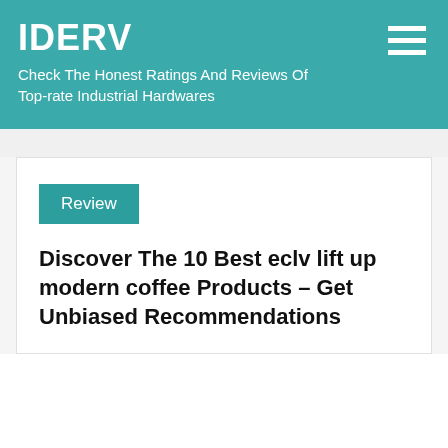IDERV
Check The Honest Ratings And Reviews Of Top-rate Industrial Hardwares
Review
Discover The 10 Best eclv lift up modern coffee Products – Get Unbiased Recommendations